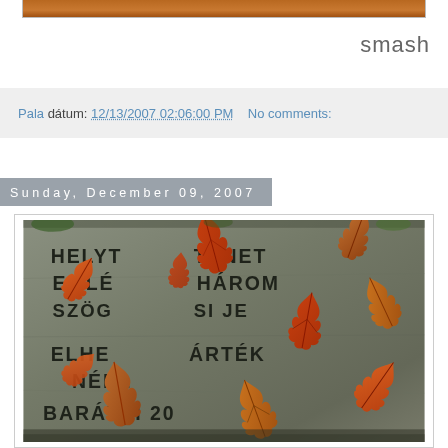[Figure (photo): Top strip of a photo showing a brown/orange surface, partially cropped at top of page]
smash
Pala dátum: 12/13/2007 02:06:00 PM     No comments:
Sunday, December 09, 2007
[Figure (photo): Photo of a stone plaque with Hungarian inscription partially obscured by autumn maple leaves. Text visible includes: HELYTÖRTÉNET, EMLÉK, HÁROM, SZÖGESI JE, ELHELYÁRTÉK, NÉPL, BARÁTAI 20]